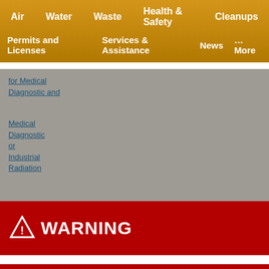Air | Water | Waste | Health & Safety | Cleanups | Permits and Licenses | Services & Assistance | News | …More
for Medical Diagnostic and
Medical Diagnostic or Industrial Radiation
[Figure (other): Warning banner with triangle warning icon and text WARNING on dark red background]
You are viewing an older (archived) version of the New Mexico Environment Department's Website. The information here is for historical purposes only and may be out of date.
Click here to go to the current NMED website.